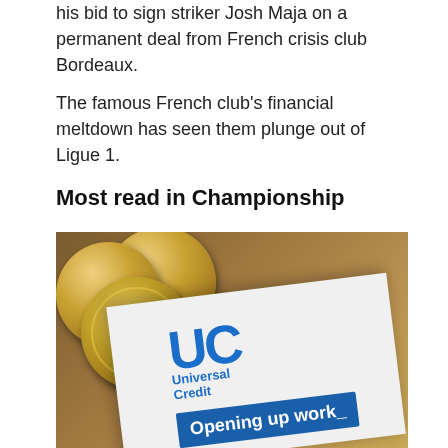his bid to sign striker Josh Maja on a permanent deal from French crisis club Bordeaux.
The famous French club's financial meltdown has seen them plunge out of Ligue 1.
Most read in Championship
[Figure (photo): Photo of a Universal Credit leaflet reading 'Opening up work_' with the UC logo (blue letters UC with 'Universal Credit' text), alongside British pound coins on a wooden surface.]